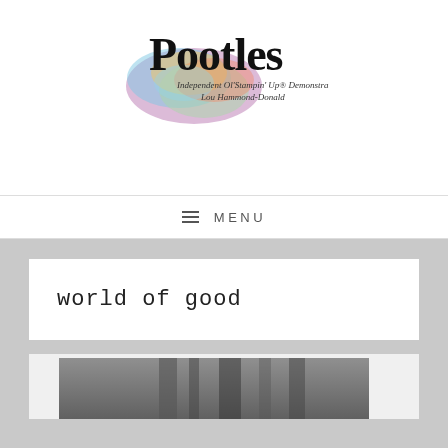[Figure (logo): Pootles logo with colorful watercolor splash and text 'Independent Stampin Up Demonstrator Lou Hammond-Donald']
≡ MENU
world of good
[Figure (photo): Partial view of a black and white photograph inside an article card]